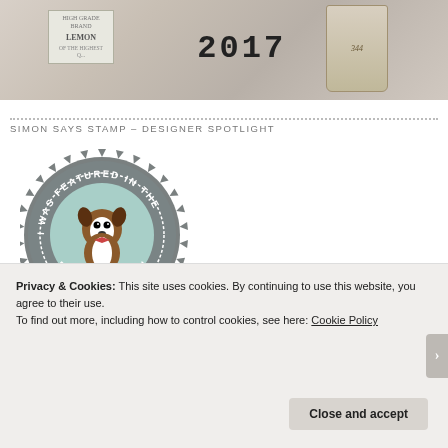[Figure (photo): Vintage/craft styled photo showing items including a lemon label tin, the year 2017 in large text, wooden items, and a woven basket, arranged in a rustic display]
SIMON SAYS STAMP – DESIGNER SPOTLIGHT
[Figure (logo): Circular badge/seal in grey with text 'I WAS FEATURED IN THE DESIGNER SPOTLIGHT' and a Boston Terrier dog illustration in the center on a mint green background]
Privacy & Cookies: This site uses cookies. By continuing to use this website, you agree to their use.
To find out more, including how to control cookies, see here: Cookie Policy
Close and accept